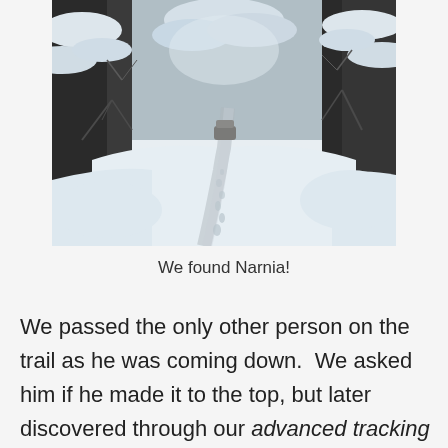[Figure (photo): A snow-covered forest trail with footprints in the snow leading into the distance, surrounded by snow-laden trees and bare branches, taken in winter.]
We found Narnia!
We passed the only other person on the trail as he was coming down.  We asked him if he made it to the top, but later discovered through our advanced tracking skills that he had only made it to the false